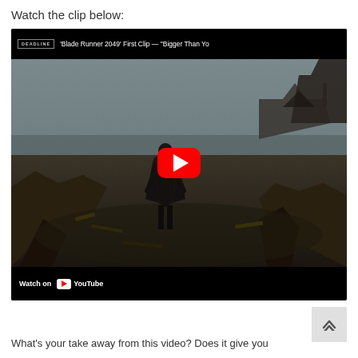Watch the clip below:
[Figure (screenshot): YouTube video embed showing 'Blade Runner 2049' First Clip — "Bigger Than Yo" with a figure standing in a post-apocalyptic wasteland, red YouTube play button centered, 'Watch on YouTube' in the bottom-left corner.]
What's your take away from this video? Does it give you